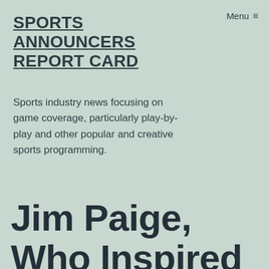Menu ≡
SPORTS ANNOUNCERS REPORT CARD
Sports industry news focusing on game coverage, particularly play-by-play and other popular and creative sports programming.
Jim Paige, Who Inspired